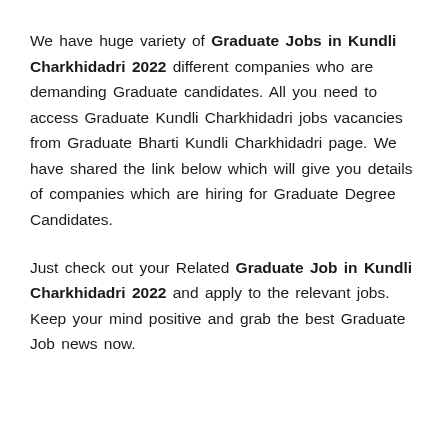We have huge variety of Graduate Jobs in Kundli Charkhidadri 2022 different companies who are demanding Graduate candidates. All you need to access Graduate Kundli Charkhidadri jobs vacancies from Graduate Bharti Kundli Charkhidadri page. We have shared the link below which will give you details of companies which are hiring for Graduate Degree Candidates.
Just check out your Related Graduate Job in Kundli Charkhidadri 2022 and apply to the relevant jobs. Keep your mind positive and grab the best Graduate Job news now.